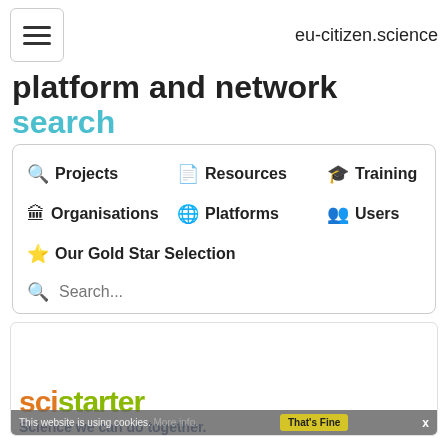eu-citizen.science
platform and network search
Projects
Resources
Training
Organisations
Platforms
Users
Our Gold Star Selection
[Figure (screenshot): SciStarter website screenshot showing logo 'scistarter' and tagline 'Science we can do together.' with a cookie consent bar at the bottom reading 'This website is using cookies. More info.' and a 'That's Fine' button]
This website is using cookies. More info.